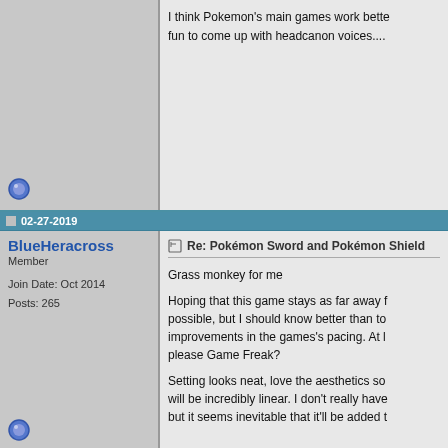I think Pokemon's main games work better... fun to come up with headcanon voices....
02-27-2019
BlueHeracross
Member
Join Date: Oct 2014
Posts: 265
Re: Pokémon Sword and Pokémon Shield
Grass monkey for me
Hoping that this game stays as far away from possible, but I should know better than to... improvements in the games's pacing. At l... please Game Freak?
Setting looks neat, love the aesthetics so... will be incredibly linear. I don't really have... but it seems inevitable that it'll be added t...
02-27-2019
1dbad
Junior Member
Re: Pokémon Sword and Pokémon Shield
I was talking to some of my friends yester... region might be based on the UK. I can't...